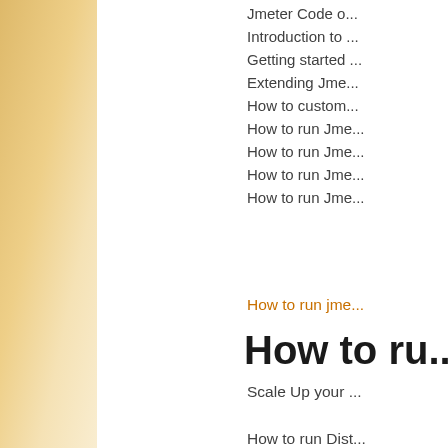Jmeter Code o...
Introduction to ...
Getting started ...
Extending Jme...
How to custom...
How to run Jme...
How to run Jme...
How to run Jme...
How to run Jme...
How to run jme...
How to ru...
Scale Up your ...
How to run Dist...
How to setup e...
Configuring...
Configuring JM...